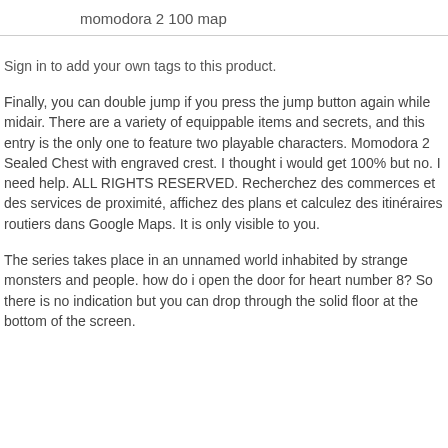momodora 2 100 map
Sign in to add your own tags to this product.
Finally, you can double jump if you press the jump button again while midair. There are a variety of equippable items and secrets, and this entry is the only one to feature two playable characters. Momodora 2 Sealed Chest with engraved crest. I thought i would get 100% but no. I need help. ALL RIGHTS RESERVED. Recherchez des commerces et des services de proximité, affichez des plans et calculez des itinéraires routiers dans Google Maps. It is only visible to you.
The series takes place in an unnamed world inhabited by strange monsters and people. how do i open the door for heart number 8? So there is no indication but you can drop through the solid floor at the bottom of the screen.